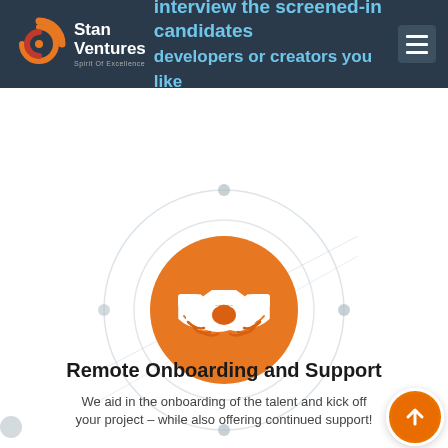Stan Ventures — Spirit Of Excellence | Interview the screened-in candidates developers or creators you like
[Figure (infographic): Circular orbit diagram with orange handshake icon in the center, representing remote onboarding and support. Concentric rings with small dots at cardinal points, orbit lines intersecting in the background.]
Remote Onboarding and Support
We aid in the onboarding of the talent and kick off your project – while also offering continued support!